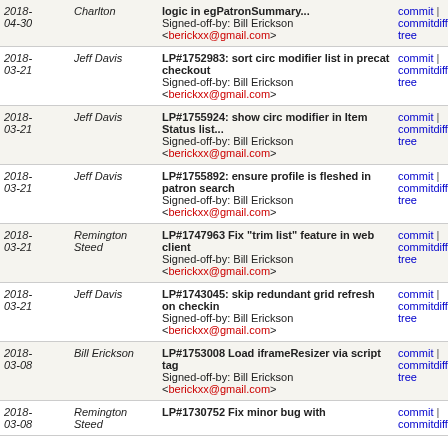| Date | Author | Message | Links |
| --- | --- | --- | --- |
| 2018-04-30 | Charlton | logic in egPatronSummary...
Signed-off-by: Bill Erickson <berickxx@gmail.com> | commit | commitdiff | tree |
| 2018-03-21 | Jeff Davis | LP#1752983: sort circ modifier list in precat checkout
Signed-off-by: Bill Erickson <berickxx@gmail.com> | commit | commitdiff | tree |
| 2018-03-21 | Jeff Davis | LP#1755924: show circ modifier in Item Status list...
Signed-off-by: Bill Erickson <berickxx@gmail.com> | commit | commitdiff | tree |
| 2018-03-21 | Jeff Davis | LP#1755892: ensure profile is fleshed in patron search
Signed-off-by: Bill Erickson <berickxx@gmail.com> | commit | commitdiff | tree |
| 2018-03-21 | Remington Steed | LP#1747963 Fix "trim list" feature in web client
Signed-off-by: Bill Erickson <berickxx@gmail.com> | commit | commitdiff | tree |
| 2018-03-21 | Jeff Davis | LP#1743045: skip redundant grid refresh on checkin
Signed-off-by: Bill Erickson <berickxx@gmail.com> | commit | commitdiff | tree |
| 2018-03-08 | Bill Erickson | LP#1753008 Load iframeResizer via script tag
Signed-off-by: Bill Erickson <berickxx@gmail.com> | commit | commitdiff | tree |
| 2018-03-08 | Remington Steed | LP#1730752 Fix minor bug with... | commit | commitdiff |